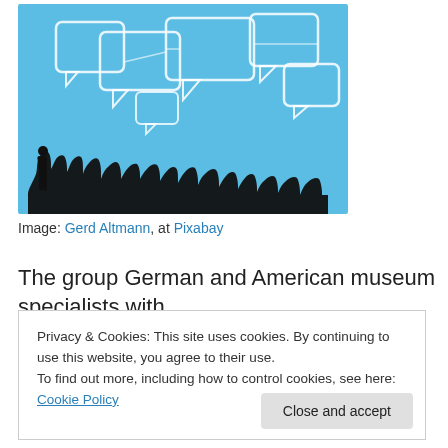[Figure (illustration): Blue background with overlapping white speech bubble outlines at top, and black silhouettes of a crowd of people standing at the bottom.]
Image: Gerd Altmann, at Pixabay
The group German and American museum specialists with whom I met for the “Museums 2010” seminar in
Privacy & Cookies: This site uses cookies. By continuing to use this website, you agree to their use.
To find out more, including how to control cookies, see here: Cookie Policy